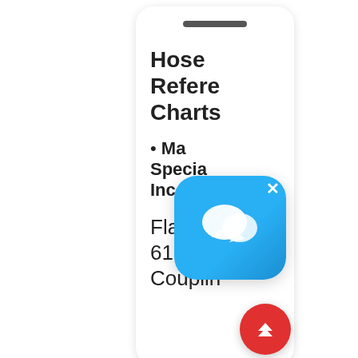[Figure (screenshot): White rounded card UI element showing 'Hose Reference Charts' section header with a bullet list item starting with 'Ma... Specia... Inc.' and text 'Flange 61 Hose Couplin']
Hose Reference Charts
Ma... Specia... Inc.
Flange 61 Hose Couplin
[Figure (screenshot): Chat/messaging app overlay icon (blue rounded square with speech bubble icon) with close X button, positioned over the card]
[Figure (other): Red circular scroll-to-top button with double upward chevron arrows]
[Figure (photo): Bottom card showing hose coupling/connector product image - red-tipped flexible hoses]